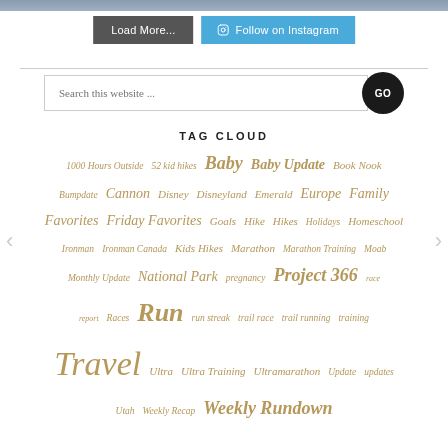[Figure (photo): Partial photo strip at top of page showing people at a beach or outdoor location]
Load More...
Follow on Instagram
Search this website ...
TAG CLOUD
1000 Hours Outside  52 kid hikes  Baby  Baby Update  Book Nook  Bumpdate  Cannon  Disney  Disneyland  Emerald  Europe  Family  Favorites  Friday Favorites  Goals  Hike  Hikes  Holidays  Homeschool  Ironman  Ironman Canada  Kids Hikes  Marathon  Marathon Training  Moab  Monthly Update  National Park  pregnancy  Project 366  race report  Races  Run  run streak  trail race  trail running  training  Travel  Ultra  Ultra Training  Ultramarathon  Update  updates  Utah  Weekly Recap  Weekly Rundown